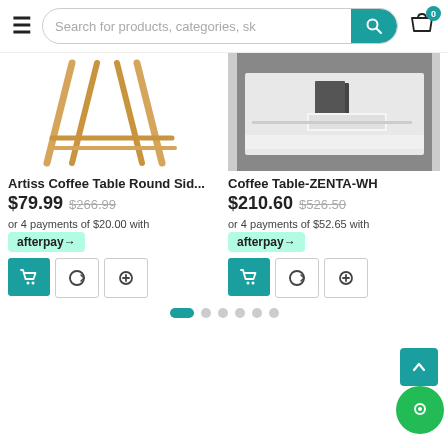Search for products, categories, sk
[Figure (photo): Artiss Coffee Table Round Side table product image showing wooden frame legs]
Artiss Coffee Table Round Sid...
$79.99  $266.99
or 4 payments of $20.00 with afterpay
[Figure (photo): Coffee Table ZENTA-WH product image showing white modern coffee table with books]
Coffee Table-ZENTA-WH
$210.60  $526.50
or 4 payments of $52.65 with afterpay